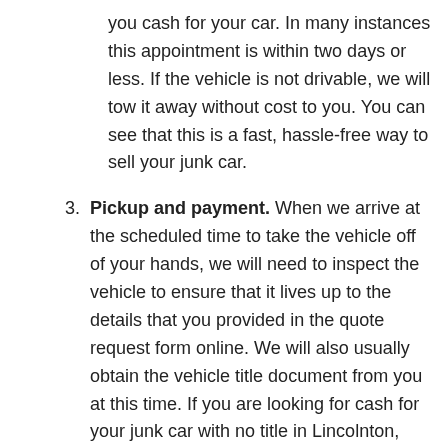you cash for your car. In many instances this appointment is within two days or less. If the vehicle is not drivable, we will tow it away without cost to you. You can see that this is a fast, hassle-free way to sell your junk car.
3. Pickup and payment. When we arrive at the scheduled time to take the vehicle off of your hands, we will need to inspect the vehicle to ensure that it lives up to the details that you provided in the quote request form online. We will also usually obtain the vehicle title document from you at this time. If you are looking for cash for your junk car with no title in Lincolnton, NC, contact us to see if we can buy your vehicle.
Before the junk car removal team leaves, they will place the full amount of cash that was agreed upon in